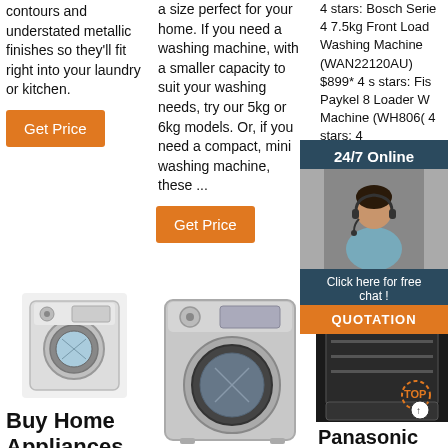contours and understated metallic finishes so they'll fit right into your laundry or kitchen.
Get Price
a size perfect for your home. If you need a washing machine, with a smaller capacity to suit your washing needs, try our 5kg or 6kg models. Or, if you need a compact, mini washing machine, these ...
Get Price
4 stars: Bosch Serie 4 7.5kg Front Load Washing Machine (WAN22120AU) $899* 4 stars: Fisher & Paykel 8kg Front Loader Washing Machine (WH8060P1) 4 stars: 4 stars:
Get Price
[Figure (infographic): 24/7 Online chat overlay with customer service representative photo and QUOTATION button]
[Figure (photo): Front load washing machine product image]
[Figure (photo): Front load washing machine, larger silver model]
[Figure (photo): Dishwasher open with TOP branding overlay]
Buy Home Appliances
Panasonic